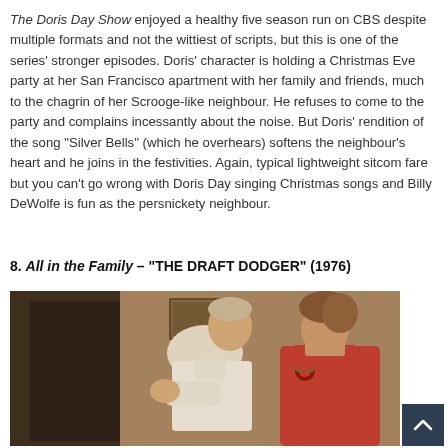The Doris Day Show enjoyed a healthy five season run on CBS despite multiple formats and not the wittiest of scripts, but this is one of the series' stronger episodes. Doris' character is holding a Christmas Eve party at her San Francisco apartment with her family and friends, much to the chagrin of her Scrooge-like neighbour. He refuses to come to the party and complains incessantly about the noise. But Doris' rendition of the song "Silver Bells" (which he overhears) softens the neighbour's heart and he joins in the festivities. Again, typical lightweight sitcom fare but you can't go wrong with Doris Day singing Christmas songs and Billy DeWolfe is fun as the persnickety neighbour.
8. ALL IN THE FAMILY – "THE DRAFT DODGER" (1976)
[Figure (photo): A still from All in the Family showing a man in a white shirt leaning forward and a woman in a red dress with a floral brooch standing beside him in a living room setting.]